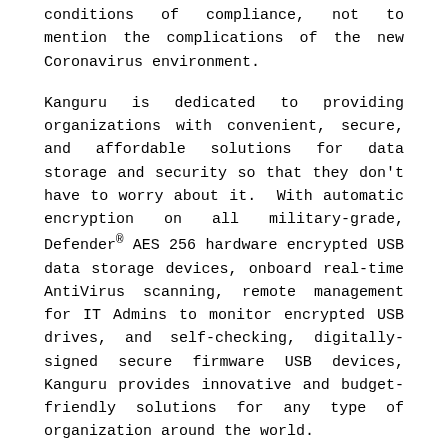conditions of compliance, not to mention the complications of the new Coronavirus environment.
Kanguru is dedicated to providing organizations with convenient, secure, and affordable solutions for data storage and security so that they don't have to worry about it. With automatic encryption on all military-grade, Defender® AES 256 hardware encrypted USB data storage devices, onboard real-time AntiVirus scanning, remote management for IT Admins to monitor encrypted USB drives, and self-checking, digitally-signed secure firmware USB devices, Kanguru provides innovative and budget-friendly solutions for any type of organization around the world.
But Kanguru does more than just provide data security and data storage products, we work together, closely with organizations to help them find the best IT solution, and we've been doing it well for over 25 years. Our solutions are flexible to